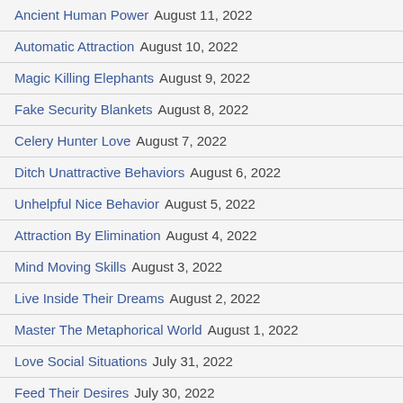Ancient Human Power August 11, 2022
Automatic Attraction August 10, 2022
Magic Killing Elephants August 9, 2022
Fake Security Blankets August 8, 2022
Celery Hunter Love August 7, 2022
Ditch Unattractive Behaviors August 6, 2022
Unhelpful Nice Behavior August 5, 2022
Attraction By Elimination August 4, 2022
Mind Moving Skills August 3, 2022
Live Inside Their Dreams August 2, 2022
Master The Metaphorical World August 1, 2022
Love Social Situations July 31, 2022
Feed Their Desires July 30, 2022